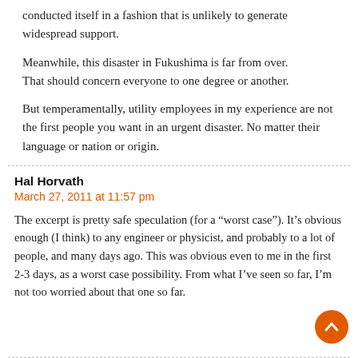conducted itself in a fashion that is unlikely to generate widespread support.
Meanwhile, this disaster in Fukushima is far from over.
That should concern everyone to one degree or another.
But temperamentally, utility employees in my experience are not the first people you want in an urgent disaster. No matter their language or nation or origin.
Hal Horvath
March 27, 2011 at 11:57 pm
The excerpt is pretty safe speculation (for a “worst case”). It’s obvious enough (I think) to any engineer or physicist, and probably to a lot of people, and many days ago. This was obvious even to me in the first 2-3 days, as a worst case possibility. From what I’ve seen so far, I’m not too worried about that one so far.